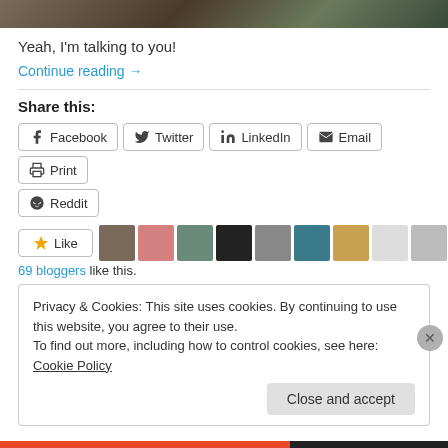[Figure (photo): Dark banner image strip at top of page]
Yeah, I'm talking to you!
Continue reading →
Share this:
Facebook  Twitter  LinkedIn  Email  Print  Reddit
[Figure (screenshot): Like button and blogger avatar thumbnails row showing 69 bloggers like this]
69 bloggers like this.
Privacy & Cookies: This site uses cookies. By continuing to use this website, you agree to their use.
To find out more, including how to control cookies, see here: Cookie Policy